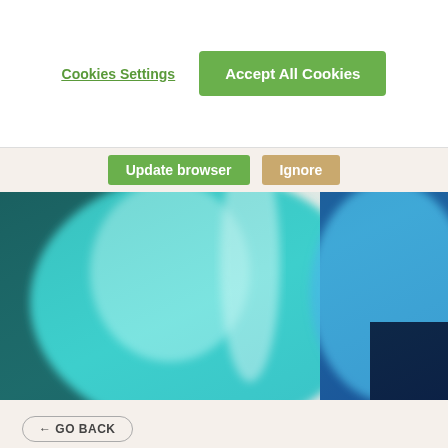[Figure (screenshot): Cookie consent banner with 'Cookies Settings' link and 'Accept All Cookies' green button on white background]
[Figure (screenshot): Browser update notification bar with green 'Update browser' button and tan/gold 'Ignore' button]
[Figure (photo): Close-up blurred photo of medical scrubs in teal/turquoise and blue colors]
← GO BACK
6 TIPS ON CHOOSING A CODING